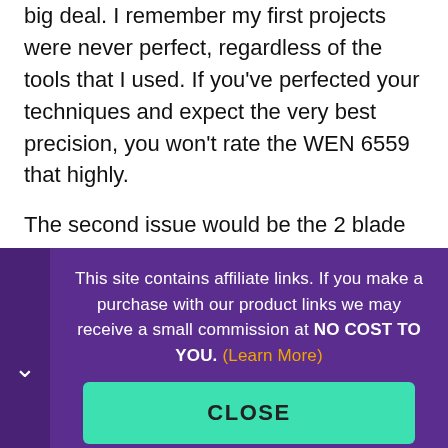big deal. I remember my first projects were never perfect, regardless of the tools that I used. If you've perfected your techniques and expect the very best precision, you won't rate the WEN 6559 that highly.

The second issue would be the 2 blade cutter. It is great for softwood and leaves a wonderfully smooth surface on pine and similar materials. If you're going
This site contains affiliate links. If you make a purchase with our product links we may receive a small commission at NO COST TO YOU. (Learn More)
CLOSE